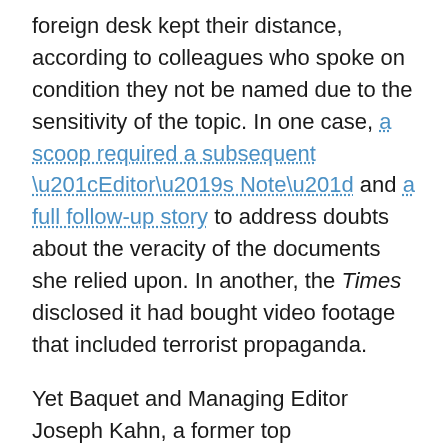foreign desk kept their distance, according to colleagues who spoke on condition they not be named due to the sensitivity of the topic. In one case, a scoop required a subsequent “Editor’s Note” and a full follow-up story to address doubts about the veracity of the documents she relied upon. In another, the Times disclosed it had bought video footage that included terrorist propaganda.
Yet Baquet and Managing Editor Joseph Kahn, a former top international editor, stood behind her. Dolnick, a scion of the Sulzberger family which has a controlling stake in the New York Times Co., personally encouraged her role and took on oversight of the Caliphate project. As Callimachi served as the heroic figure of Caliphate, on a quest for truth, audio producer Andrew Mills, who helped to develop The Daily, emerged as a recurring character as well.